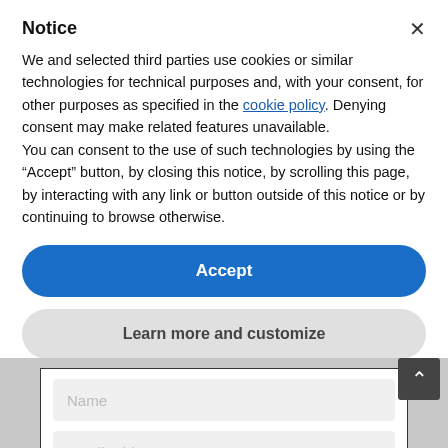Notice
We and selected third parties use cookies or similar technologies for technical purposes and, with your consent, for other purposes as specified in the cookie policy. Denying consent may make related features unavailable.
You can consent to the use of such technologies by using the “Accept” button, by closing this notice, by scrolling this page, by interacting with any link or button outside of this notice or by continuing to browse otherwise.
Accept
Learn more and customize
Name
Email Address